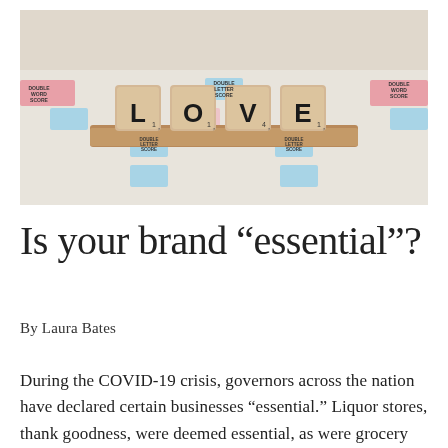[Figure (photo): A Scrabble board with wooden tiles spelling LOVE on a wooden tile holder. The board shows various colored squares including blue double-letter score squares and pink double-word score squares.]
Is your brand “essential”?
By Laura Bates
During the COVID-19 crisis, governors across the nation have declared certain businesses “essential.” Liquor stores, thank goodness, were deemed essential, as were grocery stores and pharmacies.